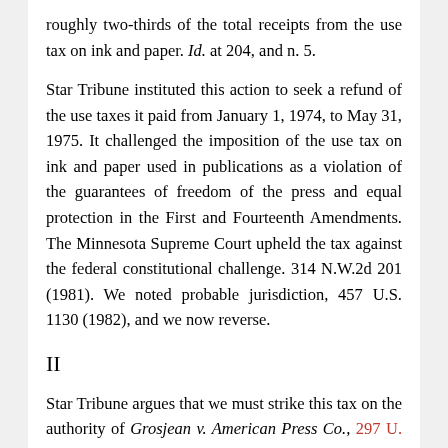roughly two-thirds of the total receipts from the use tax on ink and paper. Id. at 204, and n. 5.
Star Tribune instituted this action to seek a refund of the use taxes it paid from January 1, 1974, to May 31, 1975. It challenged the imposition of the use tax on ink and paper used in publications as a violation of the guarantees of freedom of the press and equal protection in the First and Fourteenth Amendments. The Minnesota Supreme Court upheld the tax against the federal constitutional challenge. 314 N.W.2d 201 (1981). We noted probable jurisdiction, 457 U.S. 1130 (1982), and we now reverse.
II
Star Tribune argues that we must strike this tax on the authority of Grosjean v. American Press Co., 297 U. S. 233 (1936). Although there are similarities between the